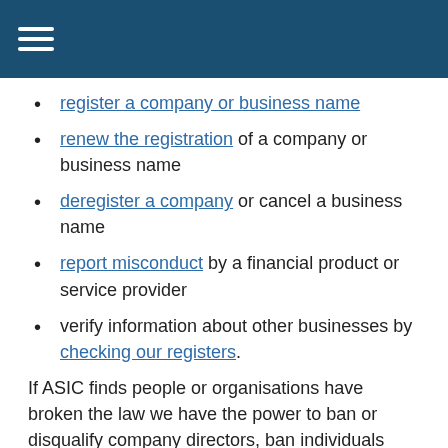[hamburger menu icon]
register a company or business name
renew the registration of a company or business name
deregister a company or cancel a business name
report misconduct by a financial product or service provider
verify information about other businesses by checking our registers.
If ASIC finds people or organisations have broken the law we have the power to ban or disqualify company directors, ban individuals from the financial services and credit industries and take civil or criminal action against companies or company officers. Find out more about ASIC's role.
Read our Small Business Strategy (PDF 658 KB) to find